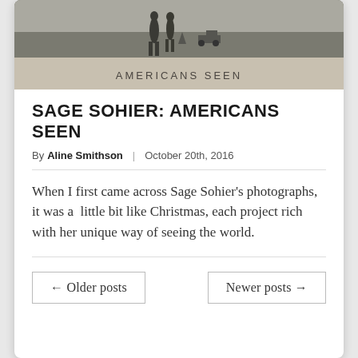[Figure (photo): Book cover for 'Americans Seen' by Sage Sohier, with a vintage black-and-white photograph of children playing with toy trucks outdoors, set against a tan/beige background with the title text 'AMERICANS SEEN' below.]
SAGE SOHIER: AMERICANS SEEN
By Aline Smithson | October 20th, 2016
When I first came across Sage Sohier's photographs, it was a  little bit like Christmas, each project rich with her unique way of seeing the world.
← Older posts
Newer posts →